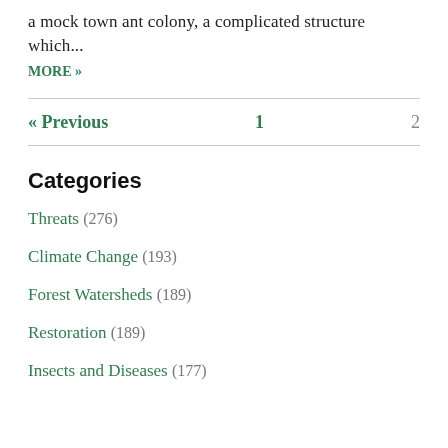a mock town ant colony, a complicated structure which...
MORE »
« Previous    1    2
Categories
Threats (276)
Climate Change (193)
Forest Watersheds (189)
Restoration (189)
Insects and Diseases (177)